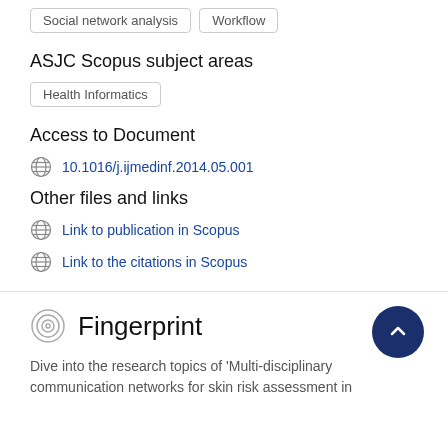Social network analysis
Workflow
ASJC Scopus subject areas
Health Informatics
Access to Document
10.1016/j.ijmedinf.2014.05.001
Other files and links
Link to publication in Scopus
Link to the citations in Scopus
Fingerprint
Dive into the research topics of 'Multi-disciplinary communication networks for skin risk assessment in